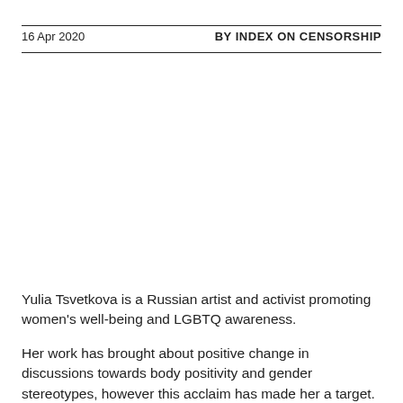16 Apr 2020    BY INDEX ON CENSORSHIP
Yulia Tsvetkova is a Russian artist and activist promoting women’s well-being and LGBTQ awareness.
Her work has brought about positive change in discussions towards body positivity and gender stereotypes, however this acclaim has made her a target.